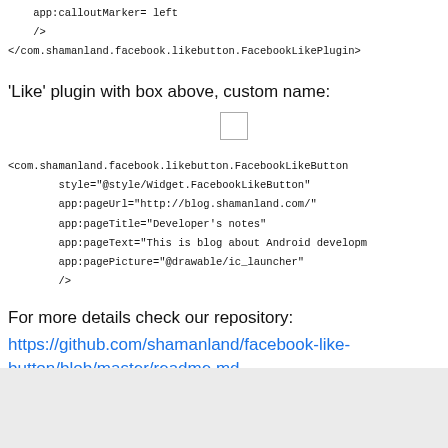app:calloutMarker= left
    />
</com.shamanland.facebook.likebutton.FacebookLikePlugin>
'Like' plugin with box above, custom name:
[Figure (other): Small checkbox/placeholder image widget]
<com.shamanland.facebook.likebutton.FacebookLikeButton
        style="@style/Widget.FacebookLikeButton"
        app:pageUrl="http://blog.shamanland.com/"
        app:pageTitle="Developer's notes"
        app:pageText="This is blog about Android developm
        app:pagePicture="@drawable/ic_launcher"
        />
For more details check our repository:
https://github.com/shamanland/facebook-like-button/blob/master/readme.md